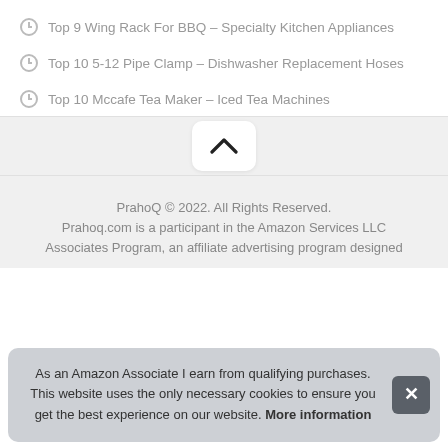Top 9 Wing Rack For BBQ – Specialty Kitchen Appliances
Top 10 5-12 Pipe Clamp – Dishwasher Replacement Hoses
Top 10 Mccafe Tea Maker – Iced Tea Machines
[Figure (other): Scroll-to-top chevron button (up arrow) on a light grey background]
PrahoQ © 2022. All Rights Reserved. Prahoq.com is a participant in the Amazon Services LLC Associates Program, an affiliate advertising program designed
As an Amazon Associate I earn from qualifying purchases. This website uses the only necessary cookies to ensure you get the best experience on our website. More information